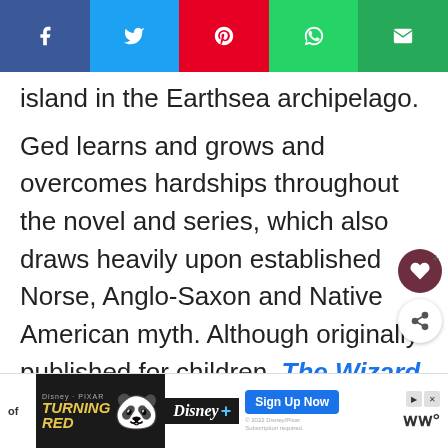[Figure (infographic): Social media share bar with Facebook (purple), Twitter (blue), Pinterest (red), WhatsApp (green), Email (green) buttons]
island in the Earthsea archipelago.

Ged learns and grows and overcomes hardships throughout the novel and series, which also draws heavily upon established Norse, Anglo-Saxon and Native American myth. Although originally published for children, The Wizard of Earthsea is a popular choice for reade.
[Figure (screenshot): Advertisement for Disney/Pixar Turning Red on Disney+, with Sign Up Now button]